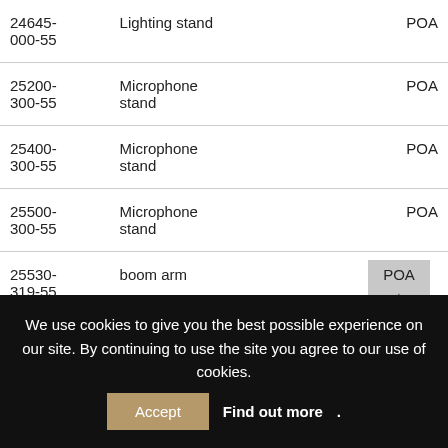| Code | Description | Price |
| --- | --- | --- |
| 24645-000-55 | Lighting stand | POA |
| 25200-300-55 | Microphone stand | POA |
| 25400-300-55 | Microphone stand | POA |
| 25500-300-55 | Microphone stand | POA |
| 25530-319-55 | boom arm | POA |
| 25600- | Microphone | POA |
We use cookies to give you the best possible experience on our site. By continuing to use the site you agree to our use of cookies. Accept Find out more.